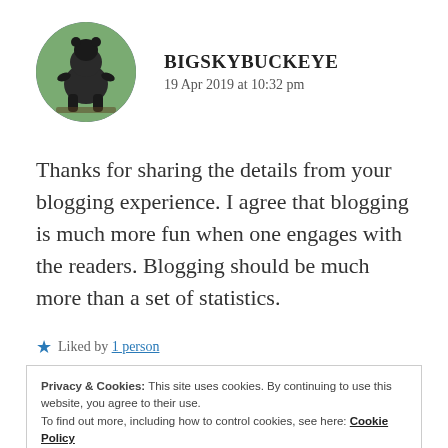[Figure (photo): Circular avatar showing a dark bear or animal statue outdoors with green trees in background]
BIGSKYBUCKEYE
19 Apr 2019 at 10:32 pm
Thanks for sharing the details from your blogging experience. I agree that blogging is much more fun when one engages with the readers. Blogging should be much more than a set of statistics.
★ Liked by 1 person
Privacy & Cookies: This site uses cookies. By continuing to use this website, you agree to their use.
To find out more, including how to control cookies, see here: Cookie Policy
Close and accept
20 Apr 2019 at 8:35 am